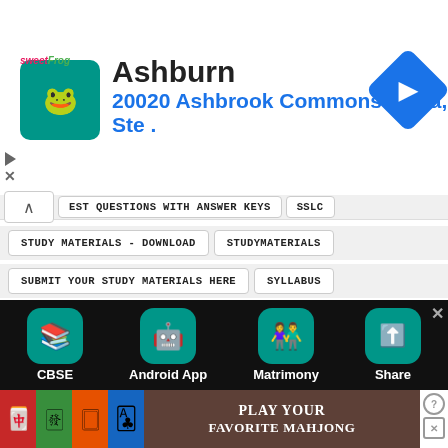[Figure (screenshot): Advertisement banner: sweetFrog logo, 'Ashburn' city text, '20020 Ashbrook Commons Plaza, Ste .' address in blue, navigation arrow icon]
EST QUESTIONS WITH ANSWER KEYS
SSLC
STUDY MATERIALS - DOWNLOAD
STUDYMATERIALS
SUBMIT YOUR STUDY MATERIALS HERE
SYLLABUS
TAMIL FONTS
TAMIL MEDIUM
TAMILNADU SCHOOLS COMMON TIME TABLE
TERM 1 EXAM QUESTION PAPERS AND ANSWER KEYS
TERM 2 EXAM QUESTION PAPERS AND ANSWER KEYS
TER... EXAM QUESTI... APERS AND A... ER KEYS
[Figure (screenshot): Bottom app bar with icons: CBSE (book icon), Android App (android icon), Matrimony (people icon), Share (share icon), all on dark background]
[Figure (screenshot): Bottom advertisement: Mahjong tiles and 'Play Your Favorite Mahjong' text]